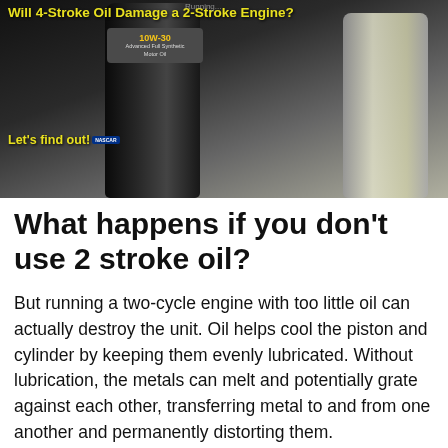[Figure (photo): Photo of motor oil bottles including a dark 10W-30 synthetic oil bottle and a clear bottle, with yellow text overlay reading 'Will 4-Stroke Oil Damage a 2-Stroke Engine?' and 'Let's find out!' on a dark background]
What happens if you don't use 2 stroke oil?
But running a two-cycle engine with too little oil can actually destroy the unit. Oil helps cool the piston and cylinder by keeping them evenly lubricated. Without lubrication, the metals can melt and potentially grate against each other, transferring metal to and from one another and permanently distorting them.
Can I use 10W40 instead of